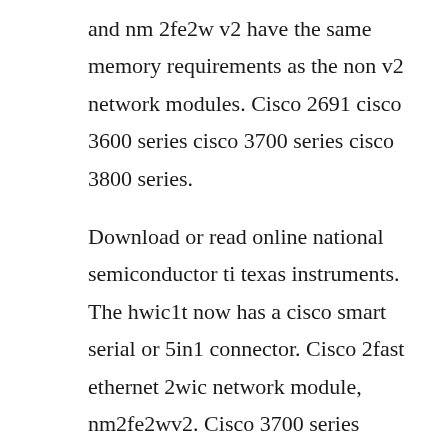and nm 2fe2w v2 have the same memory requirements as the non v2 network modules. Cisco 2691 cisco 3600 series cisco 3700 series cisco 3800 series.
Download or read online national semiconductor ti texas instruments. The hwic1t now has a cisco smart serial or 5in1 connector. Cisco 2fast ethernet 2wic network module, nm2fe2wv2. Cisco 3700 series multiservice access routerdata sheet cisco 3700 series multiservice access router access platform optimized for the modular